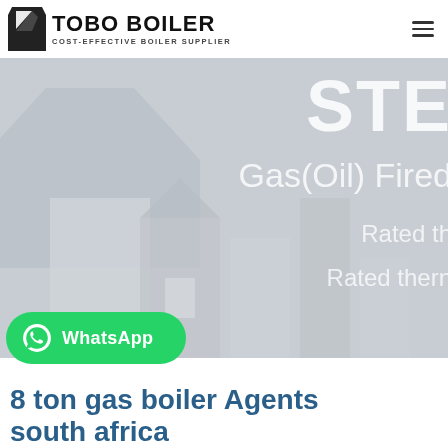[Figure (logo): TOBO BOILER logo with geometric icon on left and company name on right. Subtitle reads COST-EFFECTIVE BOILER SUPPLIER]
[Figure (photo): Hero banner with grey background showing industrial boiler facility. Overlaid text partially visible: STE..., Gas(Oil) Fired..., Rated th..., Rated therm...]
[Figure (logo): WhatsApp button: green rounded rectangle with WhatsApp phone icon and text 'WhatsApp']
8 ton gas boiler Agents south africa